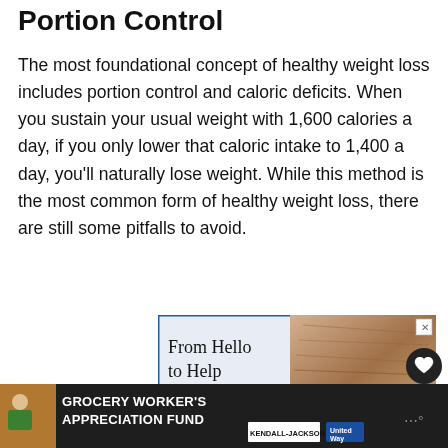Portion Control
The most foundational concept of healthy weight loss includes portion control and caloric deficits. When you sustain your usual weight with 1,600 calories a day, if you only lower that caloric intake to 1,400 a day, you'll naturally lose weight. While this method is the most common form of healthy weight loss, there are still some pitfalls to avoid.
[Figure (other): An advertisement banner showing 'From Hello to Help' text on the left with an elderly person's face on the right, with a blue border.]
[Figure (other): Bottom advertisement banner for Grocery Worker's Appreciation Fund featuring Kendall-Jackson and United Way logos on a dark background.]